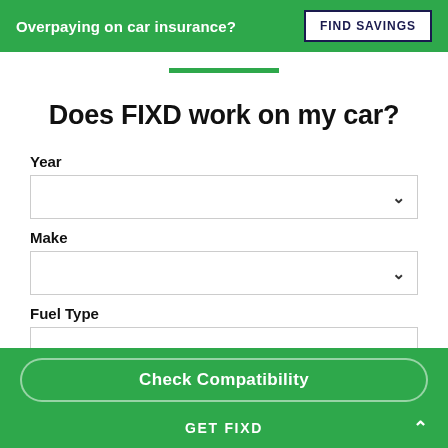Overpaying on car insurance?  FIND SAVINGS
Does FIXD work on my car?
Year
Make
Fuel Type
Check Compatibility
GET FIXD